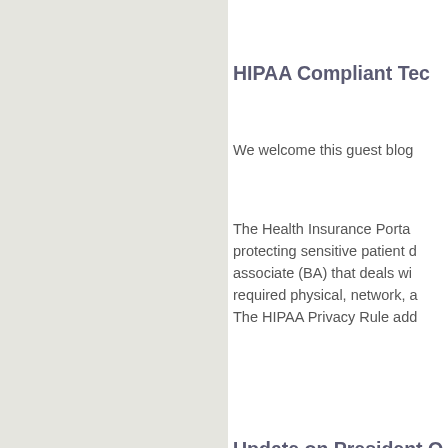HIPAA Compliant Tech
We welcome this guest blog
The Health Insurance Porta... protecting sensitive patient d... associate (BA) that deals wi... required physical, network, a... The HIPAA Privacy Rule add...
Update on President O... Consumer Protection,...
Concluding our three-part a... and Consumer Protection, w... afternoon session, including... the Small Business Adminis... sector leaders moderated by...